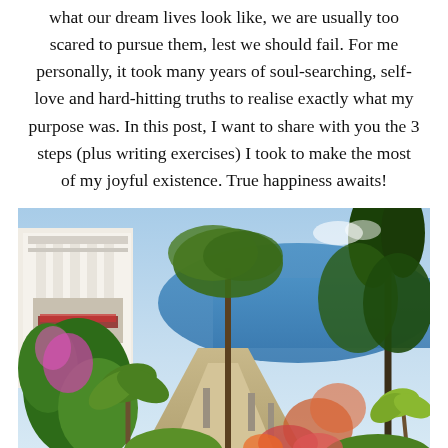what our dream lives look like, we are usually too scared to pursue them, lest we should fail. For me personally, it took many years of soul-searching, self-love and hard-hitting truths to realise exactly what my purpose was. In this post, I want to share with you the 3 steps (plus writing exercises) I took to make the most of my joyful existence. True happiness awaits!
[Figure (photo): A scenic Mediterranean garden path with lush tropical plants, colourful flowers, tall pine trees, white columns of a villa on the left, and a bright blue sea visible in the background under a clear sky.]